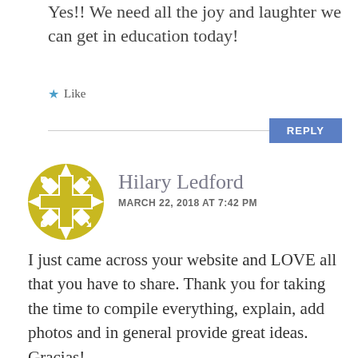Yes!! We need all the joy and laughter we can get in education today!
★ Like
REPLY
[Figure (illustration): Yellow circular decorative avatar/icon with snowflake-like cutout pattern]
Hilary Ledford
MARCH 22, 2018 AT 7:42 PM
I just came across your website and LOVE all that you have to share. Thank you for taking the time to compile everything, explain, add photos and in general provide great ideas. Gracias!